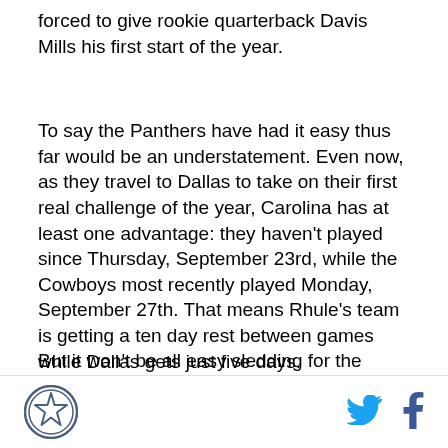forced to give rookie quarterback Davis Mills his first start of the year.
To say the Panthers have had it easy thus far would be an understatement. Even now, as they travel to Dallas to take on their first real challenge of the year, Carolina has at least one advantage: they haven't played since Thursday, September 23rd, while the Cowboys most recently played Monday, September 27th. That means Rhule's team is getting a ten day rest between games while Dallas gets just five days.
But it won't be all easy sledding for the Panthers. On offense, they lost Christian McCaffrey to a hamstring injury. McCaffrey, about as dynamic a running back as
[Figure (logo): Dallas Cowboys star logo in circular badge form]
[Figure (logo): Twitter bird icon in cyan blue]
[Figure (logo): Facebook f icon in dark blue]